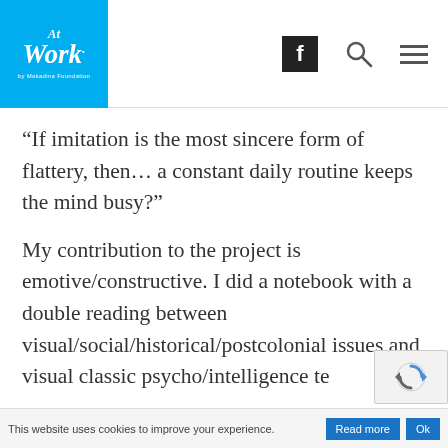At Work. by Makadina Foundation
“If imitation is the most sincere form of flattery, then… a constant daily routine keeps the mind busy?”
My contribution to the project is emotive/constructive. I did a notebook with a double reading between visual/social/historical/postcolonial issues and visual classic psycho/intelligence te
This website uses cookies to improve your experience. Read more Ok